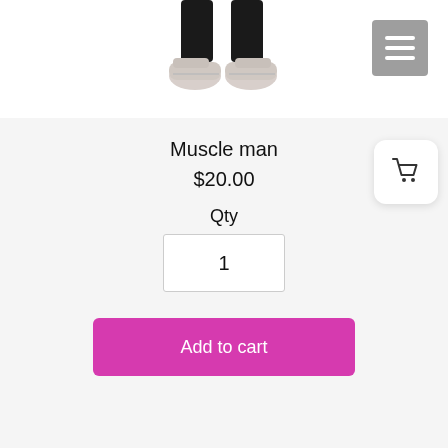[Figure (photo): Bottom half of a person wearing dark jogger pants and white sneakers, product photo cropped at waist level]
Muscle man
$20.00
Qty
1
Add to cart